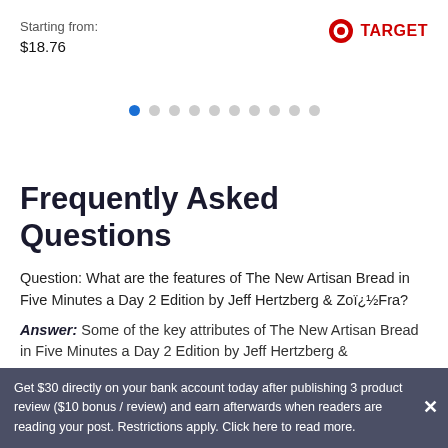Starting from:
$18.76
[Figure (logo): Target bullseye logo with TARGET text in red]
[Figure (other): Carousel pagination dots — one blue active dot followed by nine grey dots]
Frequently Asked Questions
Question: What are the features of The New Artisan Bread in Five Minutes a Day 2 Edition by Jeff Hertzberg & Zoï¿½Fra?
Answer: Some of the key attributes of The New Artisan Bread in Five Minutes a Day 2 Edition by Jeff Hertzberg &
Get $30 directly on your bank account today after publishing 3 product review ($10 bonus / review) and earn afterwards when readers are reading your post. Restrictions apply. Click here to read more.